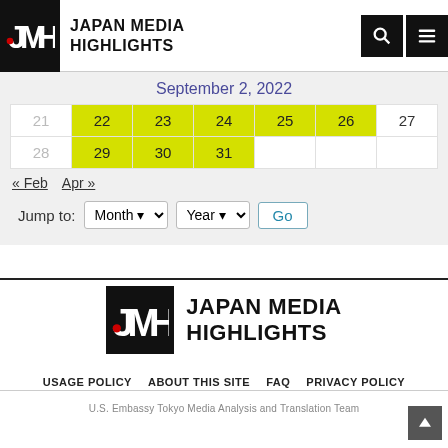Japan Media Highlights
September 2, 2022
| 21 | 22 | 23 | 24 | 25 | 26 | 27 |
| 28 | 29 | 30 | 31 |  |  |  |
« Feb   Apr »
Jump to: Month ▾  Year ▾  Go
[Figure (logo): Japan Media Highlights logo with JMH monogram on black background]
USAGE POLICY   ABOUT THIS SITE   FAQ   PRIVACY POLICY
U.S. Embassy Tokyo Media Analysis and Translation Team